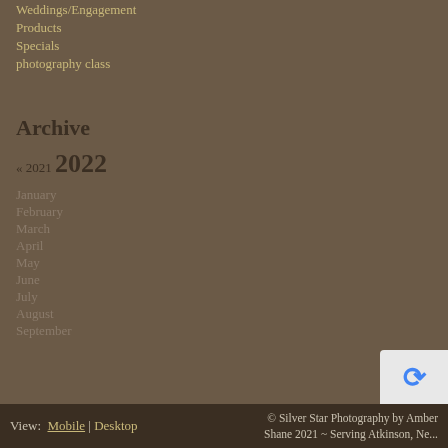Weddings/Engagement
Products
Specials
photography class
Archive
« 2021 2022
January
February
March
April
May
June
July
August
September
View: Mobile | Desktop © Silver Star Photography by Amber Shane 2021 ~ Serving Atkinson, Ne...